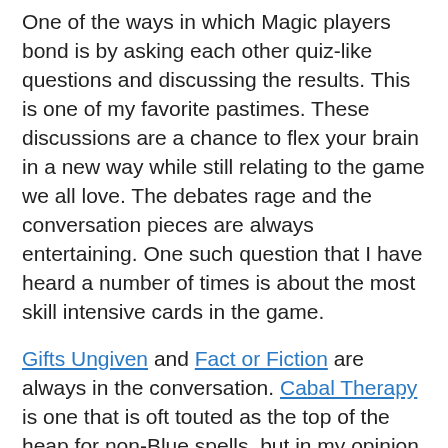One of the ways in which Magic players bond is by asking each other quiz-like questions and discussing the results. This is one of my favorite pastimes. These discussions are a chance to flex your brain in a new way while still relating to the game we all love. The debates rage and the conversation pieces are always entertaining. One such question that I have heard a number of times is about the most skill intensive cards in the game.
Gifts Ungiven and Fact or Fiction are always in the conversation. Cabal Therapy is one that is oft touted as the top of the heap for non-Blue spells, but in my opinion it gets beaten out by Sensei's Divining Top. There are even cases to be made for simple things like tutors and basic removal. The number one card, however, is fairly indisputable as far as I'm concerned. That honor is held by my favorite Magic card of all time. I'm speaking of course, about Brainstorm.
A cornerstone of the game itself, it defined Vintage until it